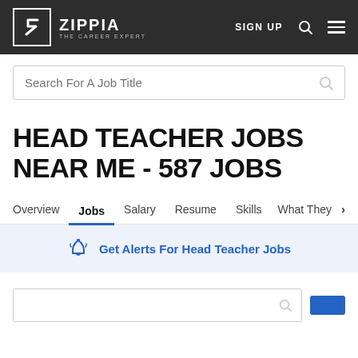ZIPPIA THE CAREER EXPERT | SIGN UP
Search For A Job Title
HEAD TEACHER JOBS NEAR ME - 587 JOBS
Overview | Jobs | Salary | Resume | Skills | What They >
Get Alerts For Head Teacher Jobs